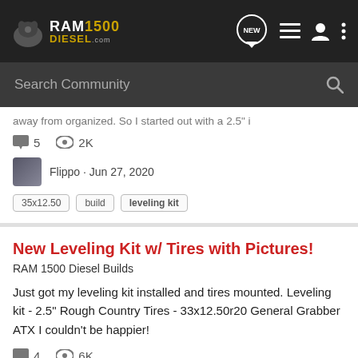RAM1500 DIESEL.com — navigation bar with NEW, list, user, and menu icons
Search Community
away from organized. So I started out with a 2.5" i...
5 comments · 2K views
Flippo · Jun 27, 2020
35x12.50
build
leveling kit
New Leveling Kit w/ Tires with Pictures!
RAM 1500 Diesel Builds
Just got my leveling kit installed and tires mounted. Leveling kit - 2.5" Rough Country Tires - 33x12.50r20 General Grabber ATX I couldn't be happier!
4 comments · 6K views
Flippo · May 13, 2020
33x12.50 · 33x12.50r20 · general grabber · leveling kit